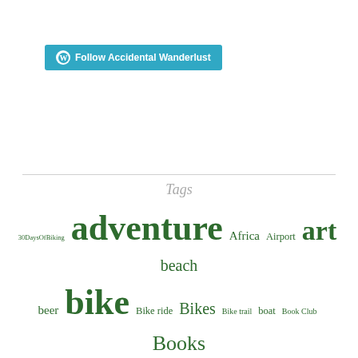[Figure (other): WordPress Follow button: blue rounded rectangle with WordPress logo icon and text 'Follow Accidental Wanderlust']
Tags
30DaysOfBiking adventure Africa Airport art beach beer bike Bike ride Bikes Bike trail boat Book Club Books camping Charity Chicago City City Life Coffee Coffee Shop Color Columbus Metro Parks Community conservation Cuba downtown elephant fall Family flowers food garden Glacier National Park Hike Home Inspiration International just before sunset lakefront Landscape Library Little Free Library Metro Metro Parks Metro Parks Winter Hike Series morocco Music National Park Nature Park photography Pizza rocks sand shopping Small Town Smithsonian Snow solo travel Spring sunset Tradition